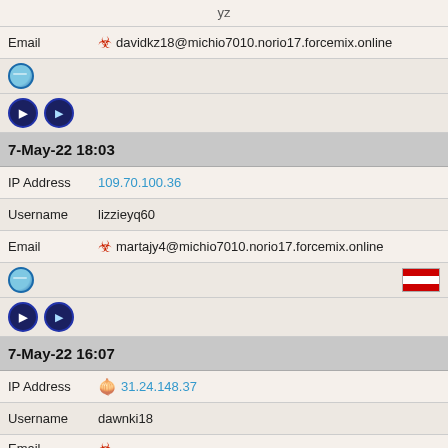| Email | ☣ davidkz18@michio7010.norio17.forcemix.online |
| (globe icon) |  |
| (os icons) |  |
| 7-May-22 18:03 |  |
| IP Address | 109.70.100.36 |
| Username | lizzieyq60 |
| Email | ☣ martajy4@michio7010.norio17.forcemix.online |
| (globe icon) | (Austria flag) |
| (os icons) |  |
| 7-May-22 16:07 |  |
| IP Address | 🧅 31.24.148.37 |
| Username | dawnki18 |
| Email | ☣ clarenceeg3@michio7010.norio17.forcemix.online |
| (globe icon) | (Germany flag) |
| (os icons) |  |
| 5-May-22 09:15 |  |